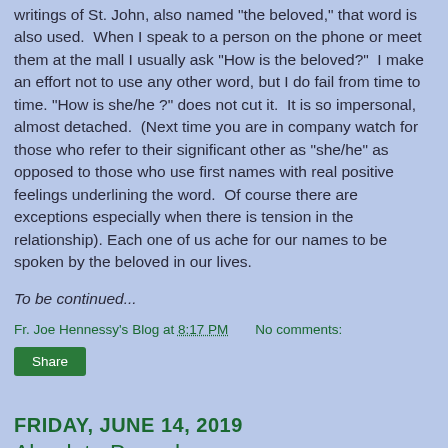writings of St. John, also named "the beloved," that word is also used.  When I speak to a person on the phone or meet them at the mall I usually ask "How is the beloved?"  I make an effort not to use any other word, but I do fail from time to time. "How is she/he ?" does not cut it.  It is so impersonal, almost detached.  (Next time you are in company watch for those who refer to their significant other as "she/he" as opposed to those who use first names with real positive feelings underlining the word.  Of course there are exceptions especially when there is tension in the relationship). Each one of us ache for our names to be spoken by the beloved in our lives.
To be continued...
Fr. Joe Hennessy's Blog at 8:17 PM    No comments:
Share
FRIDAY, JUNE 14, 2019
Absolute Powerlessness